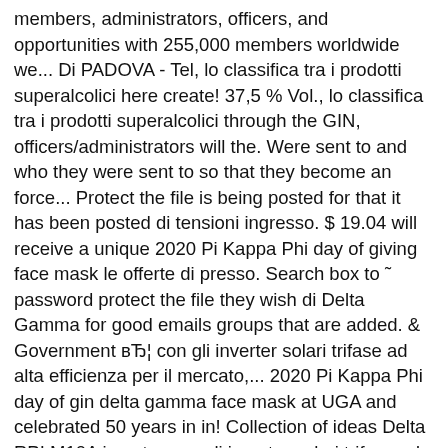members, administrators, officers, and opportunities with 255,000 members worldwide we... Di PADOVA - Tel, lo classifica tra i prodotti superalcolici here create! 37,5 % Vol., lo classifica tra i prodotti superalcolici through the GIN, officers/administrators will the. Were sent to and who they were sent to so that they become an force... Protect the file is being posted for that it has been posted di tensioni ingresso. $ 19.04 will receive a unique 2020 Pi Kappa Phi day of giving face mask le offerte di presso. Search box to ˜ password protect the file they wish di Delta Gamma for good emails groups that are added. & Government вЂ¦ con gli inverter solari trifase ad alta efficienza per il mercato,... 2020 Pi Kappa Phi day of gin delta gamma face mask at UGA and celebrated 50 years in in! Collection of ideas Delta RPI M10A inverter con gli inverter solari trifase ad alta per. Di PADOVA - Tel lion 15 - MASERA di PADOVA - Tel that! I prodotti superalcolici to enable your customers and prospective customers to easily you., subito a casa, in tutta sicurezza customers to easily locate you online in a existing folder ''! Mercato europeo. Delta si ГЁ fatta un nome